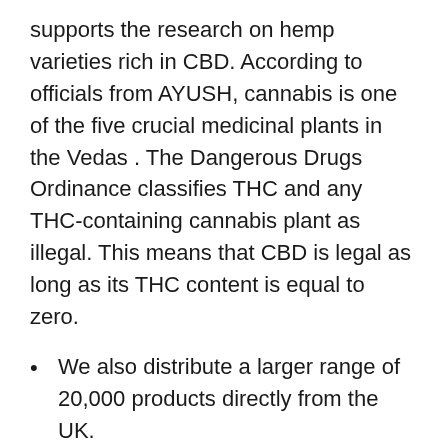supports the research on hemp varieties rich in CBD. According to officials from AYUSH, cannabis is one of the five crucial medicinal plants in the Vedas . The Dangerous Drugs Ordinance classifies THC and any THC-containing cannabis plant as illegal. This means that CBD is legal as long as its THC content is equal to zero.
We also distribute a larger range of 20,000 products directly from the UK.
“When they took him to the CID drugs unit they beat him for an entire five days, he told me police officers tasered him, slapped him in the face and all they fed him was bread and little bit of water.
Paracetamol is not featured on the